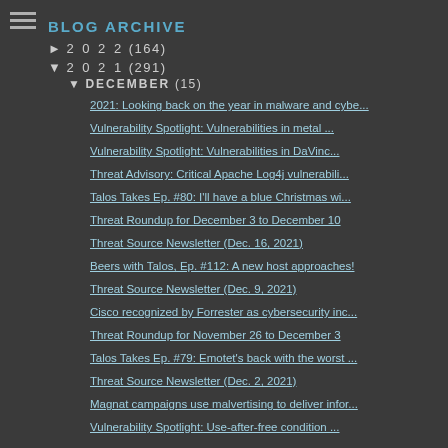BLOG ARCHIVE
► 2 0 2 2 (164)
▼ 2 0 2 1 (291)
▼ DECEMBER (15)
2021: Looking back on the year in malware and cybe...
Vulnerability Spotlight: Vulnerabilities in metal ...
Vulnerability Spotlight: Vulnerabilities in DaVinc...
Threat Advisory: Critical Apache Log4j vulnerabili...
Talos Takes Ep. #80: I'll have a blue Christmas wi...
Threat Roundup for December 3 to December 10
Threat Source Newsletter (Dec. 16, 2021)
Beers with Talos, Ep. #112: A new host approaches!
Threat Source Newsletter (Dec. 9, 2021)
Cisco recognized by Forrester as cybersecurity inc...
Threat Roundup for November 26 to December 3
Talos Takes Ep. #79: Emotet's back with the worst ...
Threat Source Newsletter (Dec. 2, 2021)
Magnat campaigns use malvertising to deliver infor...
Vulnerability Spotlight: Use-after-free condition ...